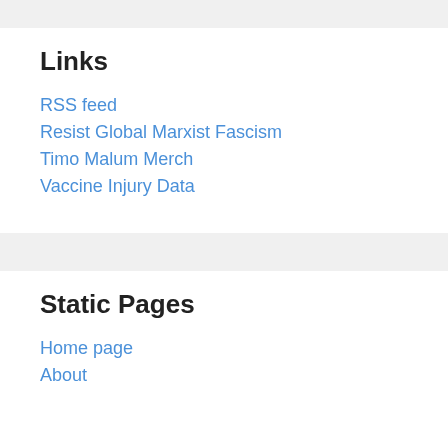Links
RSS feed
Resist Global Marxist Fascism
Timo Malum Merch
Vaccine Injury Data
Static Pages
Home page
About